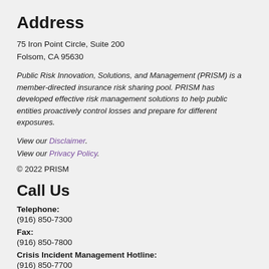Address
75 Iron Point Circle, Suite 200
Folsom, CA 95630
Public Risk Innovation, Solutions, and Management (PRISM) is a member-directed insurance risk sharing pool. PRISM has developed effective risk management solutions to help public entities proactively control losses and prepare for different exposures.
View our Disclaimer.
View our Privacy Policy.
© 2022 PRISM
Call Us
Telephone:
(916) 850-7300
Fax:
(916) 850-7800
Crisis Incident Management Hotline:
(916) 850-7700